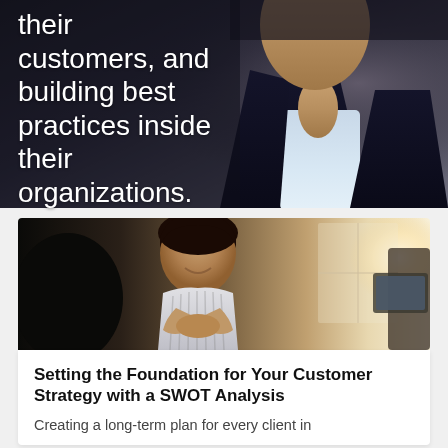[Figure (photo): Dark background photo of a man in a navy suit and light blue shirt, seen from chest up, with partial overlay text visible at top]
their customers, and building best practices inside their organizations.
[Figure (photo): Photo of a smiling woman in a striped blouse sitting at a meeting table, bright window light behind her, with other people partially visible]
Setting the Foundation for Your Customer Strategy with a SWOT Analysis
Creating a long-term plan for every client in